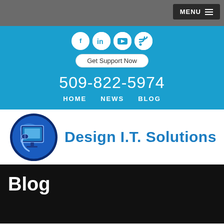MENU
[Figure (logo): Social media icons: Facebook, LinkedIn, YouTube, RSS feed — white circles on blue background]
Get Support Now
509-822-5974
HOME   NEWS   BLOG
[Figure (logo): Design I.T. Solutions logo: blue globe/monitor icon with mouse cord on left, company name 'Design I.T. Solutions' in blue on right]
Blog